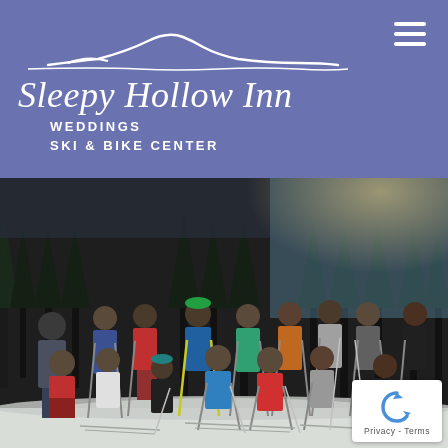[Figure (logo): Sleepy Hollow Inn logo with mountain silhouette outline on purple/periwinkle background. Text reads 'Sleepy Hollow Inn' in italic serif font with 'WEDDINGS SKI & BIKE CENTER' in bold uppercase below.]
[Figure (photo): Group photo of approximately 20 children and adults in cross-country ski gear standing and kneeling on a snowy field. Trees visible in background. Taken on a sunny winter day.]